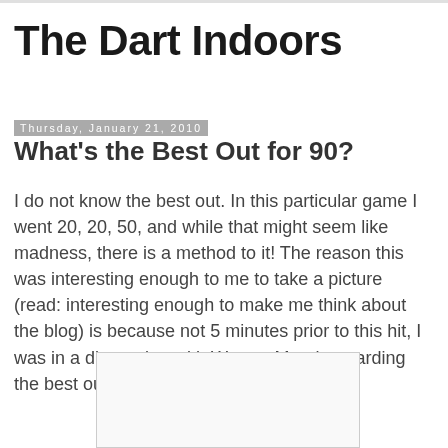The Dart Indoors
Thursday, January 21, 2010
What's the Best Out for 90?
I do not know the best out. In this particular game I went 20, 20, 50, and while that might seem like madness, there is a method to it! The reason this was interesting enough to me to take a picture (read: interesting enough to make me think about the blog) is because not 5 minutes prior to this hit, I was in a discussion with Warren Mundt regarding the best out for 90!
[Figure (photo): Partial image of a dartboard or game, cropped at bottom of page]